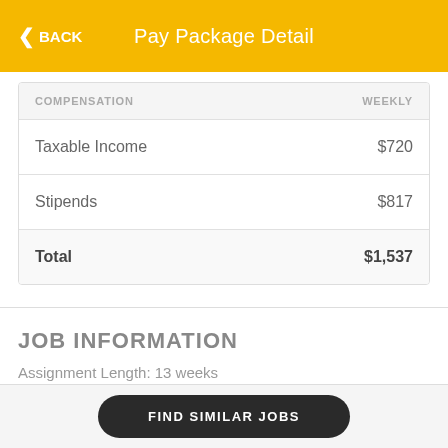Pay Package Detail
| COMPENSATION | WEEKLY |
| --- | --- |
| Taxable Income | $720 |
| Stipends | $817 |
| Total | $1,537 |
JOB INFORMATION
Assignment Length: 13 weeks
FIND SIMILAR JOBS